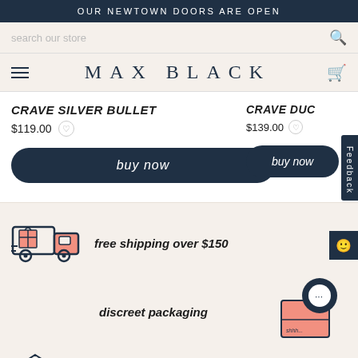OUR NEWTOWN DOORS ARE OPEN
search our store
MAX BLACK
CRAVE SILVER BULLET
$119.00
buy now
CRAVE DUC
$139.00
Feedback
free shipping over $150
discreet packaging